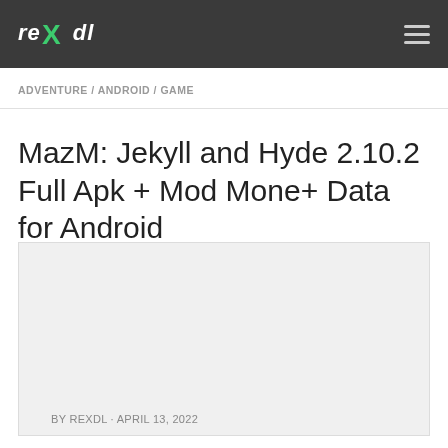rexdl
ADVENTURE / ANDROID / GAME
MazM: Jekyll and Hyde 2.10.2 Full Apk + Mod Mone+ Data for Android
[Figure (other): Placeholder image area for game screenshot or cover art]
BY REXDL · APRIL 13, 2022